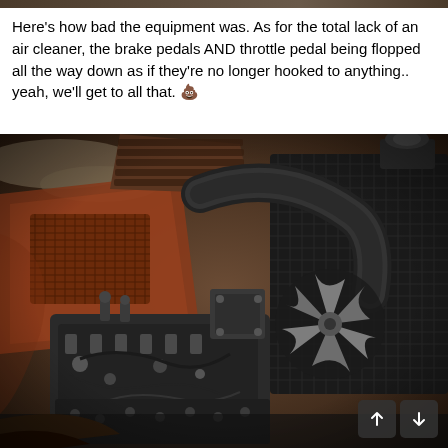Here's how bad the equipment was. As for the total lack of an air cleaner, the brake pedals AND throttle pedal being flopped all the way down as if they're no longer hooked to anything.. yeah, we'll get to all that. 💩
[Figure (photo): Close-up photo of a heavily rusted and worn tractor or machinery engine bay, showing the engine block, radiator, cooling fan, rubber hose, carburetor area, spark plugs, and various worn metal components without an air cleaner. Rust and grime cover most surfaces.]